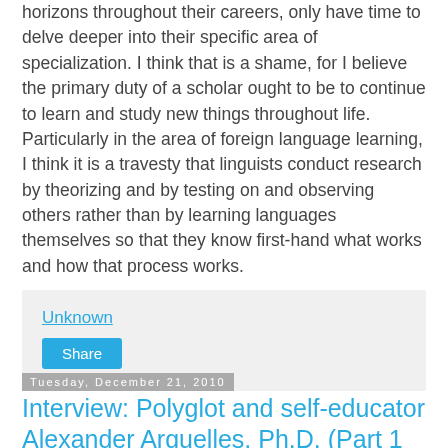horizons throughout their careers, only have time to delve deeper into their specific area of specialization. I think that is a shame, for I believe the primary duty of a scholar ought to be to continue to learn and study new things throughout life. Particularly in the area of foreign language learning, I think it is a travesty that linguists conduct research by theorizing and by testing on and observing others rather than by learning languages themselves so that they know first-hand what works and how that process works.
Unknown
Share
Tuesday, December 21, 2010
Interview: Polyglot and self-educator Alexander Arguelles, Ph.D. (Part 1 of 2)